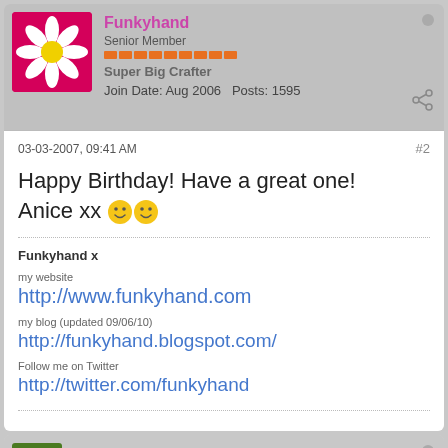Funkyhand
Senior Member
Super Big Crafter
Join Date: Aug 2006   Posts: 1595
03-03-2007, 09:41 AM
#2
Happy Birthday! Have a great one! Anice xx 🙂🙂
Funkyhand x
my website
http://www.funkyhand.com
my blog (updated 09/06/10)
http://funkyhand.blogspot.com/
Follow me on Twitter
http://twitter.com/funkyhand
littlesnuggler